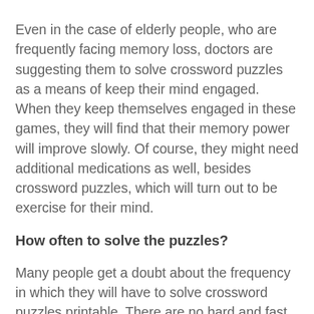Even in the case of elderly people, who are frequently facing memory loss, doctors are suggesting them to solve crossword puzzles as a means of keep their mind engaged. When they keep themselves engaged in these games, they will find that their memory power will improve slowly. Of course, they might need additional medications as well, besides crossword puzzles, which will turn out to be exercise for their mind.
How often to solve the puzzles?
Many people get a doubt about the frequency in which they will have to solve crossword puzzles printable. There are no hard and fast rules that an